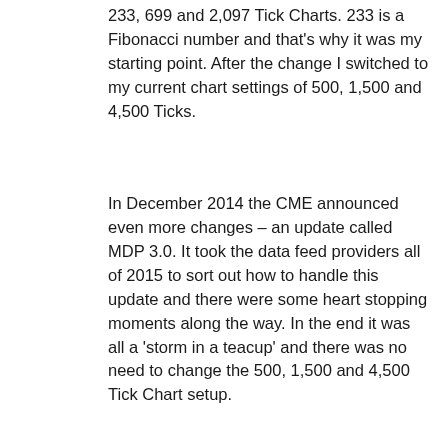233, 699 and 2,097 Tick Charts. 233 is a Fibonacci number and that's why it was my starting point. After the change I switched to my current chart settings of 500, 1,500 and 4,500 Ticks.
In December 2014 the CME announced even more changes – an update called MDP 3.0. It took the data feed providers all of 2015 to sort out how to handle this update and there were some heart stopping moments along the way. In the end it was all a 'storm in a teacup' and there was no need to change the 500, 1,500 and 4,500 Tick Chart setup.